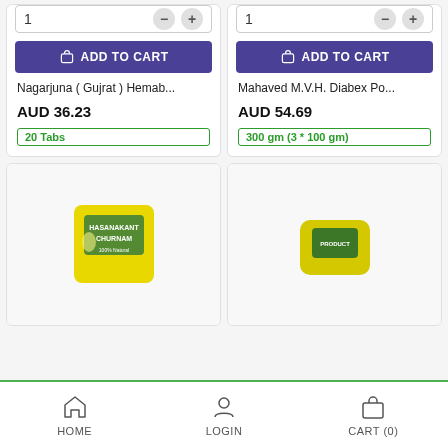[Figure (screenshot): Product card left top: quantity selector showing 1, minus and plus buttons, ADD TO CART button (purple), product name 'Nagarjuna ( Gujrat ) Hemab...', price AUD 36.23, tag '20 Tabs']
[Figure (screenshot): Product card right top: quantity selector showing 1, minus and plus buttons, ADD TO CART button (purple), product name 'Mahaved M.V.H. Diabex Po...', price AUD 54.69, tag '300 gm (3 * 100 gm)']
[Figure (screenshot): Bottom left product card showing yellow packet product (HASANAKANT CHURNAM) partially visible]
[Figure (screenshot): Bottom right product card showing yellow product partially visible]
HOME   LOGIN   CART (0)